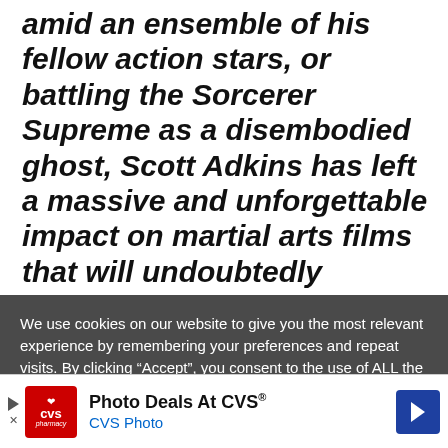amid an ensemble of his fellow action stars, or battling the Sorcerer Supreme as a disembodied ghost, Scott Adkins has left a massive and unforgettable impact on martial arts films that will undoubtedly continue to be felt for decades.

Naturally, having completed so
We use cookies on our website to give you the most relevant experience by remembering your preferences and repeat visits. By clicking “Accept”, you consent to the use of ALL the cookies.
[Figure (other): CVS Photo advertisement banner with CVS pharmacy logo, text 'Photo Deals At CVS®' and 'CVS Photo', navigation arrows on both sides]